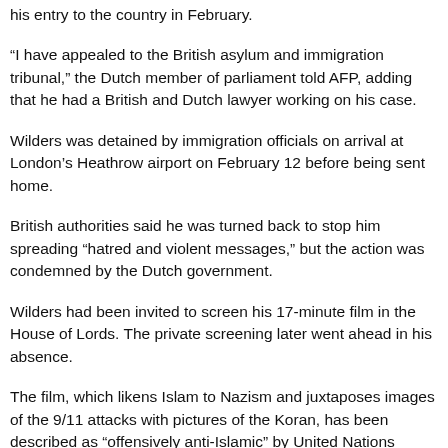his entry to the country in February.
“I have appealed to the British asylum and immigration tribunal,” the Dutch member of parliament told AFP, adding that he had a British and Dutch lawyer working on his case.
Wilders was detained by immigration officials on arrival at London’s Heathrow airport on February 12 before being sent home.
British authorities said he was turned back to stop him spreading “hatred and violent messages,” but the action was condemned by the Dutch government.
Wilders had been invited to screen his 17-minute film in the House of Lords. The private screening later went ahead in his absence.
The film, which likens Islam to Nazism and juxtaposes images of the 9/11 attacks with pictures of the Koran, has been described as “offensively anti-Islamic” by United Nations Secretary-General Ban Ki-moon.